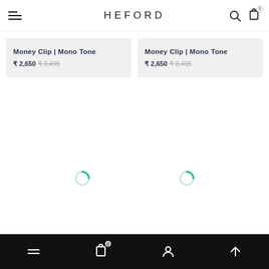HEFORD
Money Clip | Mono Tone ₹ 2,650 ₹ 3,495
Money Clip | Mono Tone ₹ 2,650 ₹ 3,495
[Figure (other): Two loading spinner icons (partial circles in teal/green color) indicating content loading below product cards]
Bottom navigation bar with menu, cart (0), account, and scroll-up icons